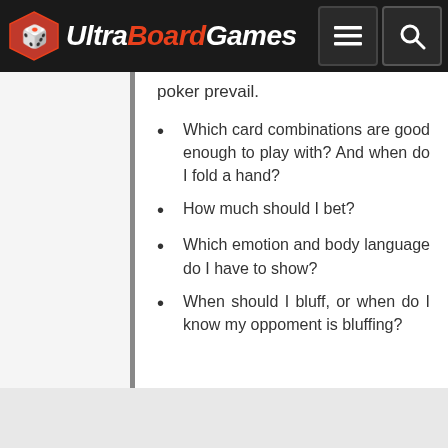UltraBoardGames
poker prevail.
Which card combinations are good enough to play with? And when do I fold a hand?
How much should I bet?
Which emotion and body language do I have to show?
When should I bluff, or when do I know my oppoment is bluffing?